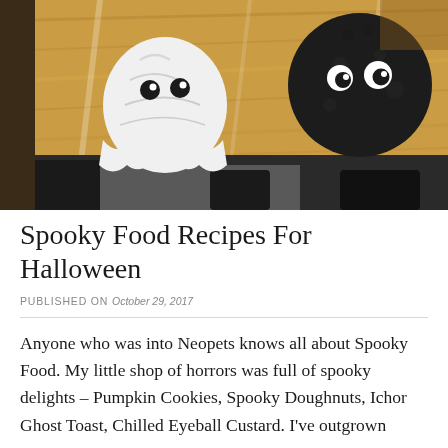[Figure (photo): Close-up photo of Halloween-themed food items on a wooden surface covered with plastic wrap — a white ghost-shaped treat and a black round spider-shaped treat, each with candy eyes. Dark background with legs visible at the bottom.]
Spooky Food Recipes For Halloween
PUBLISHED ON October 29, 2017
Anyone who was into Neopets knows all about Spooky Food. My little shop of horrors was full of spooky delights – Pumpkin Cookies, Spooky Doughnuts, Ichor Ghost Toast, Chilled Eyeball Custard. I've outgrown